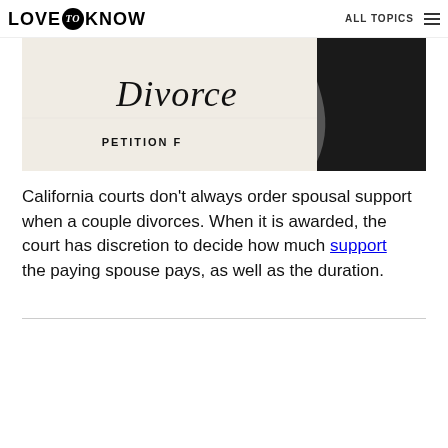LOVE to KNOW  ALL TOPICS
[Figure (photo): Close-up photo of a Divorce Petition document with cursive 'Divorce' text and 'PETITION F...' printed below, with a dark silhouette in the background]
California courts don't always order spousal support when a couple divorces. When it is awarded, the court has discretion to decide how much support the paying spouse pays, as well as the duration.